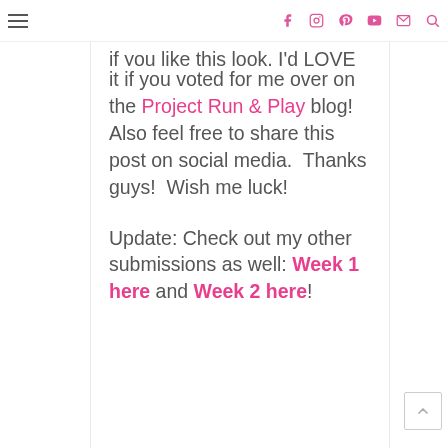☰  [social icons: facebook, instagram, pinterest, youtube, email, search]
if you like this look, I'd LOVE it if you voted for me over on the Project Run & Play blog! Also feel free to share this post on social media.  Thanks guys!  Wish me luck!
Update: Check out my other submissions as well: Week 1 here and Week 2 here!